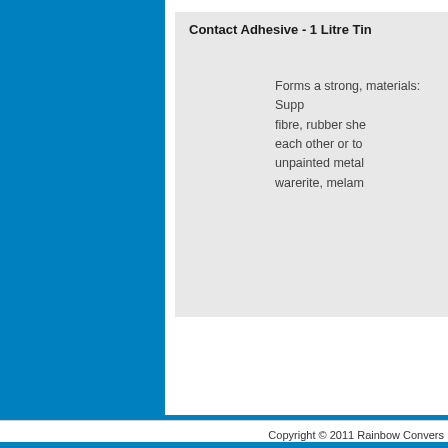Contact Adhesive - 1 Litre Tin
Forms a strong, materials: Supp fibre, rubber she each other or to unpainted metal warerite, melam
Copyright © 2011 Rainbow Convers